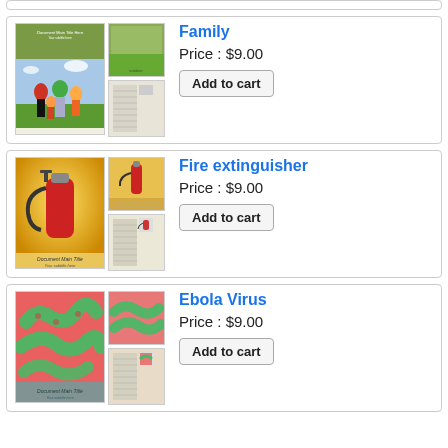[Figure (screenshot): Product listing for 'Family' document template showing thumbnail previews]
Family
Price : $9.00
Add to cart
[Figure (screenshot): Product listing for 'Fire extinguisher' document template showing thumbnail previews]
Fire extinguisher
Price : $9.00
Add to cart
[Figure (screenshot): Product listing for 'Ebola Virus' document template showing thumbnail previews]
Ebola Virus
Price : $9.00
Add to cart